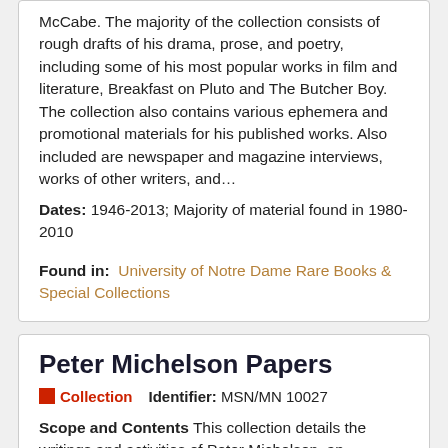McCabe. The majority of the collection consists of rough drafts of his drama, prose, and poetry, including some of his most popular works in film and literature, Breakfast on Pluto and The Butcher Boy. The collection also contains various ephemera and promotional materials for his published works. Also included are newspaper and magazine interviews, works of other writers, and...
Dates: 1946-2013; Majority of material found in 1980-2010
Found in: University of Notre Dame Rare Books & Special Collections
Peter Michelson Papers
Collection   Identifier: MSN/MN 10027
Scope and Contents This collection details the writings and activities of Peter Michelson, an American poet and professor teaching at several universities around the United States. It contains records of his professional and academic career